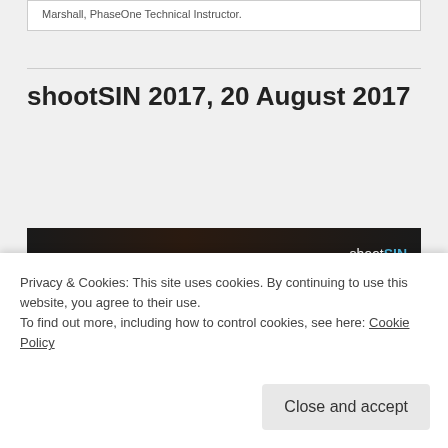Marshall, PhaseOne Technical Instructor.
shootSIN 2017, 20 August 2017
[Figure (screenshot): Screenshot of a video thumbnail showing broncolor logo and text 'shootSIN 2017, Singapore' with shootSIN badge on dark background]
Privacy & Cookies: This site uses cookies. By continuing to use this website, you agree to their use.
To find out more, including how to control cookies, see here: Cookie Policy
Close and accept